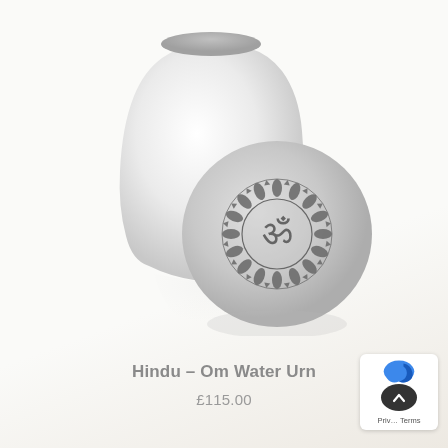[Figure (photo): A white ceramic water urn with a rounded oval/cup body, and a spherical lid/disc leaning against it. The disc has a decorative Om (ॐ) symbol in the center surrounded by an ornamental mandala/lotus border, rendered in dark grey on the light grey disc. The urn and lid are photographed on a white-cream background with subtle reflection beneath.]
Hindu – Om Water Urn
£115.00